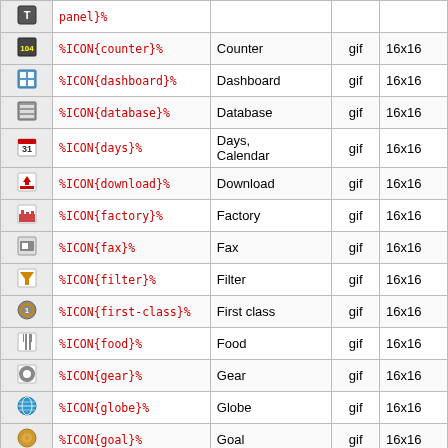| Icon | Variable | Name | Type | Size |
| --- | --- | --- | --- | --- |
| [T] | panel}% |  |  |  |
| [104] | %ICON{counter}% | Counter | gif | 16x16 |
| [grid] | %ICON{dashboard}% | Dashboard | gif | 16x16 |
| [db] | %ICON{database}% | Database | gif | 16x16 |
| [31] | %ICON{days}% | Days, Calendar | gif | 16x16 |
| [dl] | %ICON{download}% | Download | gif | 16x16 |
| [factory] | %ICON{factory}% | Factory | gif | 16x16 |
| [fax] | %ICON{fax}% | Fax | gif | 16x16 |
| [filter] | %ICON{filter}% | Filter | gif | 16x16 |
| [1st] | %ICON{first-class}% | First class | gif | 16x16 |
| [food] | %ICON{food}% | Food | gif | 16x16 |
| [gear] | %ICON{gear}% | Gear | gif | 16x16 |
| [globe] | %ICON{globe}% | Globe | gif | 16x16 |
| [goal] | %ICON{goal}% | Goal | gif | 16x16 |
| [grad] | %ICON{graduation}% | Graduation | gif | 16x16 |
| [hand] | %ICON{hand}% | Pointing hand | gif | 16x16 |